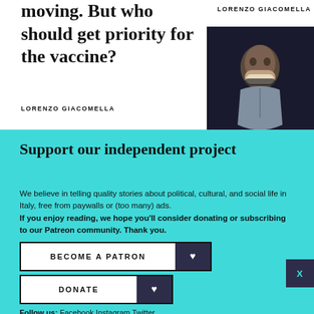moving. But who should get priority for the vaccine?
LORENZO GIACOMELLA
[Figure (photo): A woman with a face covering looking upward against a dark background]
LORENZO GIACOMELLA
Support our independent project
We believe in telling quality stories about political, cultural, and social life in Italy, free from paywalls or (too many) ads. If you enjoy reading, we hope you'll consider donating or subscribing to our Patreon community. Thank you.
BECOME A PATRON
DONATE
Follow us: Facebook Instagram Twitter